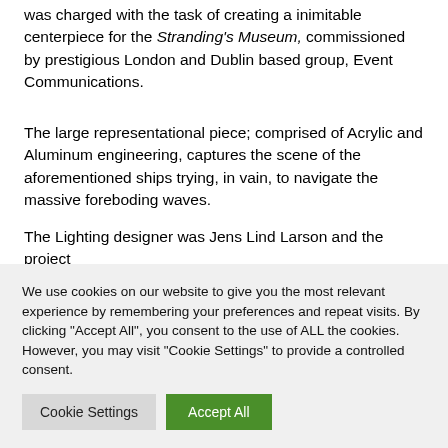was charged with the task of creating a inimitable centerpiece for the Stranding's Museum, commissioned by prestigious London and Dublin based group, Event Communications.
The large representational piece; comprised of Acrylic and Aluminum engineering, captures the scene of the aforementioned ships trying, in vain, to navigate the massive foreboding waves.
The Lighting designer was Jens Lind Larson and the project
We use cookies on our website to give you the most relevant experience by remembering your preferences and repeat visits. By clicking "Accept All", you consent to the use of ALL the cookies. However, you may visit "Cookie Settings" to provide a controlled consent.